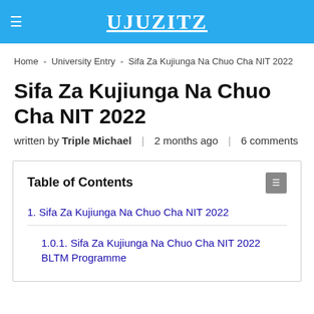UJUZITZ
Home - University Entry - Sifa Za Kujiunga Na Chuo Cha NIT 2022
Sifa Za Kujiunga Na Chuo Cha NIT 2022
written by Triple Michael | 2 months ago | 6 comments
Table of Contents
1. Sifa Za Kujiunga Na Chuo Cha NIT 2022
1.0.1. Sifa Za Kujiunga Na Chuo Cha NIT 2022 BLTM Programme